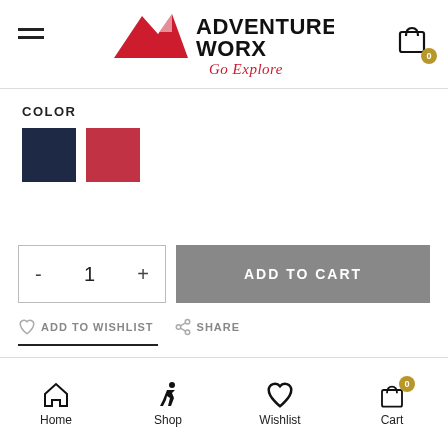[Figure (logo): Adventure Worx logo with red mountain/flag graphic, bold text ADVENTURE WORX, and italic red tagline Go Explore]
COLOR
[Figure (other): Two color swatches: navy blue and red]
[Figure (other): Quantity selector showing minus, 1, plus and Add to Cart button in grey]
ADD TO WISHLIST   SHARE
Home  Shop  Wishlist  Cart